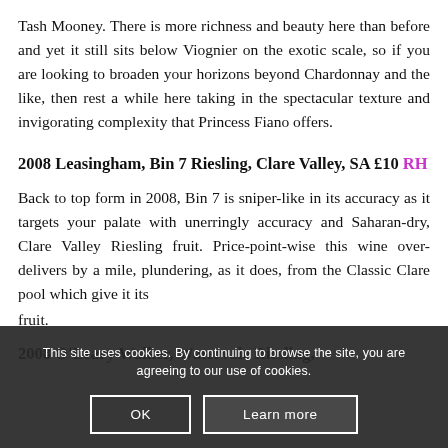Tash Mooney. There is more richness and beauty here than before and yet it still sits below Viognier on the exotic scale, so if you are looking to broaden your horizons beyond Chardonnay and the like, then rest a while here taking in the spectacular texture and invigorating complexity that Princess Fiano offers.
2008 Leasingham, Bin 7 Riesling, Clare Valley, SA £10 RH
Back to top form in 2008, Bin 7 is sniper-like in its accuracy as it targets your palate with unerringly accuracy and Saharan-dry, Clare Valley Riesling fruit. Price-point-wise this wine over-delivers by a mile, plundering, as it does, from the Classic Clare pool which give it its [text continues] fruit.
2008 O'Leary Walker, Watervale Riesling,
This site uses cookies. By continuing to browse the site, you are agreeing to our use of cookies.